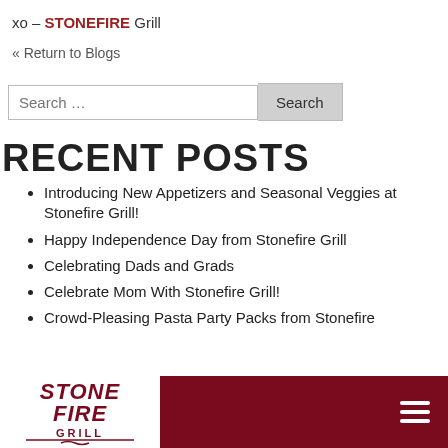xo – STONEFIRE Grill
« Return to Blogs
Search …
RECENT POSTS
Introducing New Appetizers and Seasonal Veggies at Stonefire Grill!
Happy Independence Day from Stonefire Grill
Celebrating Dads and Grads
Celebrate Mom With Stonefire Grill!
Crowd-Pleasing Pasta Party Packs from Stonefire
[Figure (logo): Stonefire Grill logo in white on dark red background footer bar]